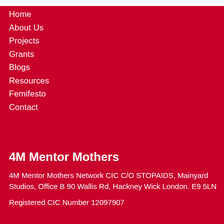Home
About Us
Projects
Grants
Blogs
Resources
Femifesto
Contact
4M Mentor Mothers
4M Mentor Mothers Network CIC C/O STOPAIDS, Mainyard Studios, Office B 90 Wallis Rd, Hackney Wick London. E9 5LN
Registered CIC Number 12097907